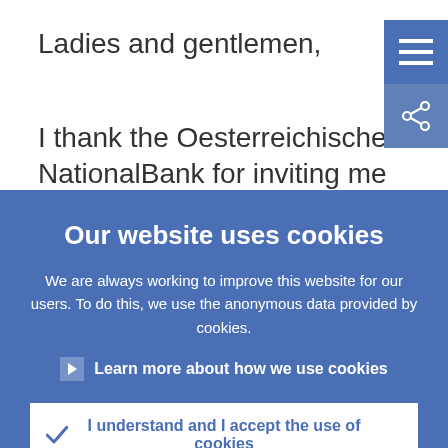Ladies and gentlemen,
I thank the Oesterreichische NationalBank for inviting me to Vienna to make this
[Figure (screenshot): Blue hamburger menu button (three horizontal white lines) in top-right corner]
[Figure (screenshot): Blue share button with share icon below the menu button]
Our website uses cookies
We are always working to improve this website for our users. To do this, we use the anonymous data provided by cookies.
> Learn more about how we use cookies
✓ I understand and I accept the use of cookies
✕ I do not accept the use of cookies